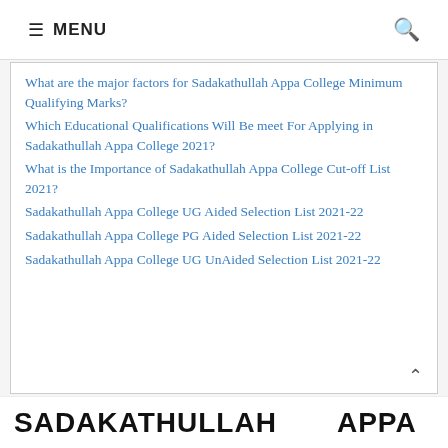≡ MENU 🔍
What are the major factors for Sadakathullah Appa College Minimum Qualifying Marks?
Which Educational Qualifications Will Be meet For Applying in Sadakathullah Appa College 2021?
What is the Importance of Sadakathullah Appa College Cut-off List 2021?
Sadakathullah Appa College UG Aided Selection List 2021-22
Sadakathullah Appa College PG Aided Selection List 2021-22
Sadakathullah Appa College UG UnAided Selection List 2021-22
SADAKATHULLAH   APPA